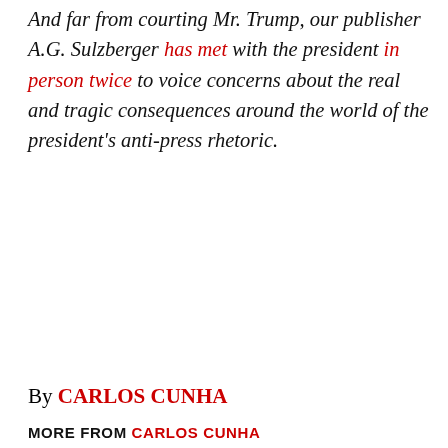And far from courting Mr. Trump, our publisher A.G. Sulzberger has met with the president in person twice to voice concerns about the real and tragic consequences around the world of the president's anti-press rhetoric.
By CARLOS CUNHA
MORE FROM CARLOS CUNHA
AROUND THE WEB
[Figure (photo): Photo of three plastic water bottles with green liquid and lemons/limes inside, arranged side by side]